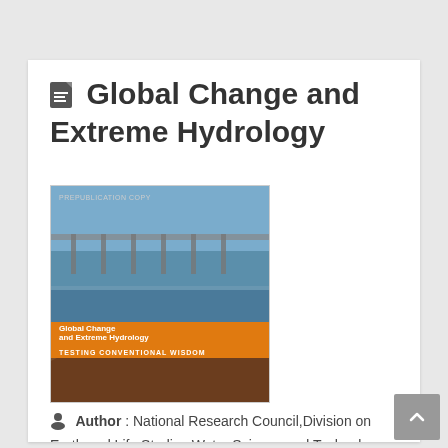Global Change and Extreme Hydrology
[Figure (photo): Book cover of 'Global Change and Extreme Hydrology: Testing Conventional Wisdom' showing a flooded bridge and eroded landscape, labeled PREPUBLICATION COPY]
Author : National Research Council,Division on Earth and Life Studies,Water Science and Technology Board,Committee on Hydrologic